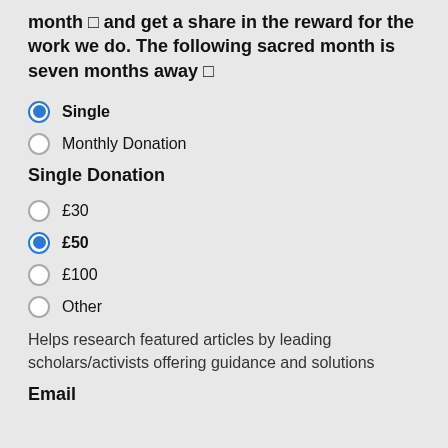month □ and get a share in the reward for the work we do. The following sacred month is seven months away □
Single (selected)
Monthly Donation
Single Donation
£30
£50 (selected)
£100
Other
Helps research featured articles by leading scholars/activists offering guidance and solutions
Email